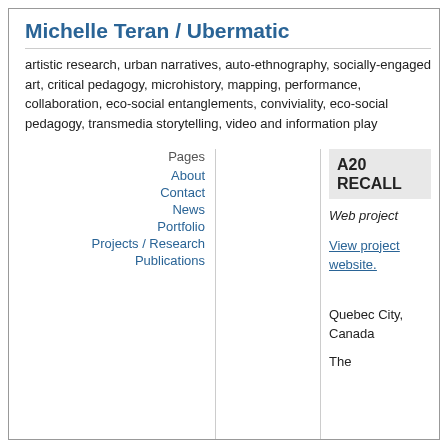Michelle Teran / Ubermatic
artistic research, urban narratives, auto-ethnography, socially-engaged art, critical pedagogy, microhistory, mapping, performance, collaboration, eco-social entanglements, conviviality, eco-social pedagogy, transmedia storytelling, video and information play
Pages
About
Contact
News
Portfolio
Projects / Research
Publications
A20 RECALL
Web project
View project website.
Quebec City, Canada
The